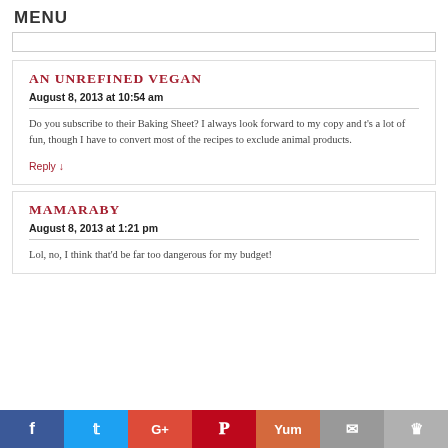MENU
AN UNREFINED VEGAN
August 8, 2013 at 10:54 am
Do you subscribe to their Baking Sheet? I always look forward to my copy and t's a lot of fun, though I have to convert most of the recipes to exclude animal products.
Reply ↓
MAMARABY
August 8, 2013 at 1:21 pm
Lol, no, I think that'd be far too dangerous for my budget!